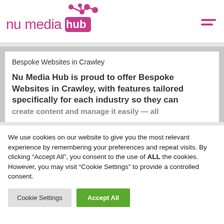[Figure (logo): Nu Media Hub logo — pink/magenta text 'nu media hub' with a network node graphic and hub box in pink]
Bespoke Websites in Crawley
Nu Media Hub is proud to offer Bespoke Websites in Crawley, with features tailored specifically for each industry so they can create content and manage it easily — all
We use cookies on our website to give you the most relevant experience by remembering your preferences and repeat visits. By clicking "Accept All", you consent to the use of ALL the cookies. However, you may visit "Cookie Settings" to provide a controlled consent.
Cookie Settings | Accept All